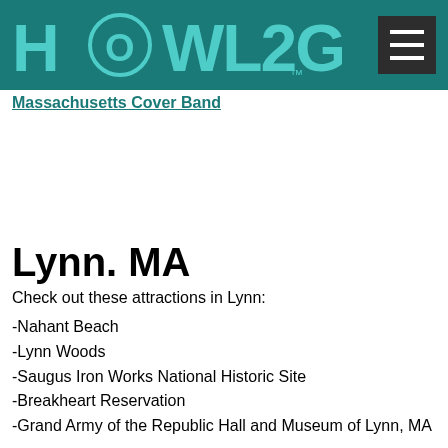HOWL2GO Massachusetts Cover Band
Lynn. MA
Check out these attractions in Lynn:
-Nahant Beach
-Lynn Woods
-Saugus Iron Works National Historic Site
-Breakheart Reservation
-Grand Army of the Republic Hall and Museum of Lynn, MA